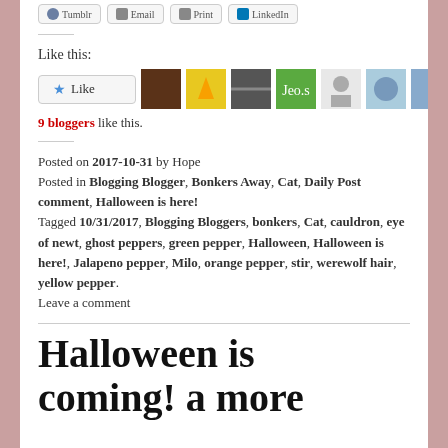[Figure (other): Row of social share buttons: Tumblr, Email, Print, LinkedIn]
Like this:
[Figure (other): Like button and 9 blogger avatar thumbnails]
9 bloggers like this.
Posted on 2017-10-31 by Hope
Posted in Blogging Blogger, Bonkers Away, Cat, Daily Post comment, Halloween is here!
Tagged 10/31/2017, Blogging Bloggers, bonkers, Cat, cauldron, eye of newt, ghost peppers, green pepper, Halloween, Halloween is here!, Jalapeno pepper, Milo, orange pepper, stir, werewolf hair, yellow pepper.
Leave a comment
Halloween is coming! a more